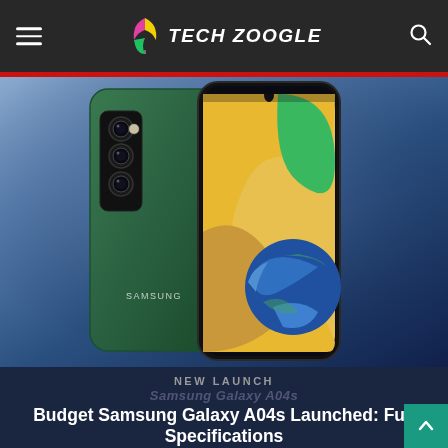Tech Zoogle
[Figure (photo): Samsung Galaxy A04s smartphone shown from back (green) and front (with colorful swirl wallpaper) — product photo on blue gradient background]
NEW LAUNCH
Samsung Galaxy A04s
Budget Samsung Galaxy A04s Launched: Full Specifications